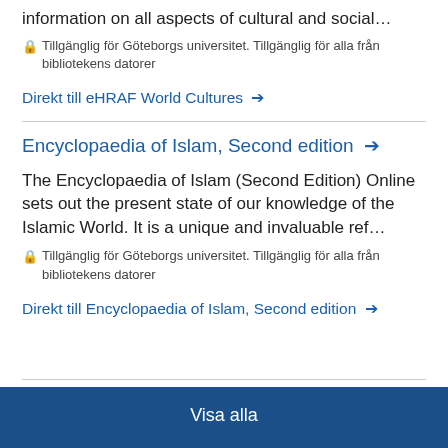information on all aspects of cultural and social…
🔒 Tillgänglig för Göteborgs universitet. Tillgänglig för alla från bibliotekens datorer
Direkt till eHRAF World Cultures →
Encyclopaedia of Islam, Second edition →
The Encyclopaedia of Islam (Second Edition) Online sets out the present state of our knowledge of the Islamic World. It is a unique and invaluable ref…
🔒 Tillgänglig för Göteborgs universitet. Tillgänglig för alla från bibliotekens datorer
Direkt till Encyclopaedia of Islam, Second edition →
Visa alla